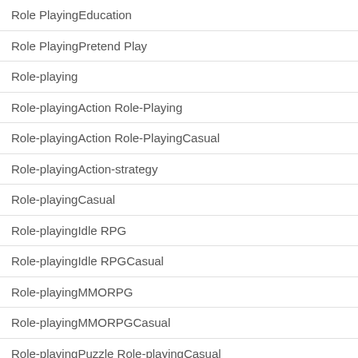| Role PlayingEducation |
| Role PlayingPretend Play |
| Role-playing |
| Role-playingAction Role-Playing |
| Role-playingAction Role-PlayingCasual |
| Role-playingAction-strategy |
| Role-playingCasual |
| Role-playingIdle RPG |
| Role-playingIdle RPGCasual |
| Role-playingMMORPG |
| Role-playingMMORPGCasual |
| Role-playingPuzzle Role-playingCasual |
| Role-playingPuzzle Role-playingMatch 3 RPGCasual |